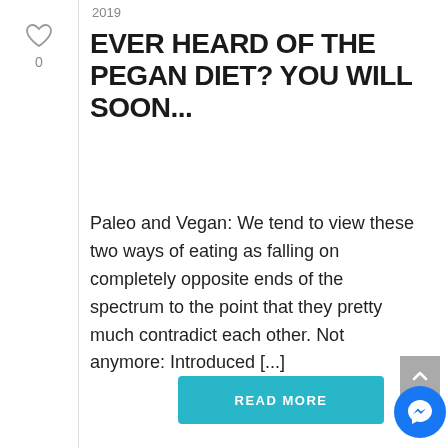2019
EVER HEARD OF THE PEGAN DIET? YOU WILL SOON...
Paleo and Vegan: We tend to view these two ways of eating as falling on completely opposite ends of the spectrum to the point that they pretty much contradict each other. Not anymore: Introduced [...]